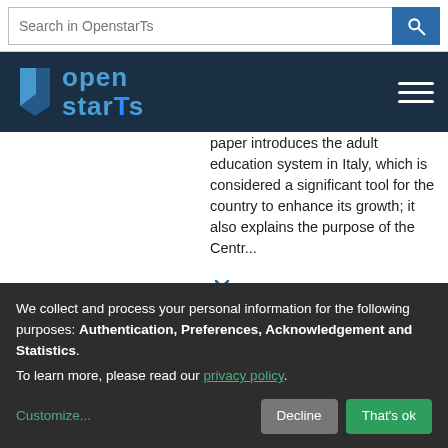Search in OpenstarTs
[Figure (logo): OpenstarTs logo with navigation header on dark blue background]
paper introduces the adult education system in Italy, which is considered a significant tool for the country to enhance its growth; it also explains the purpose of the Centr...
Type: Book Chapter
URL: http://hdl.handle.net/10077/30188
We collect and process your personal information for the following purposes: Authentication, Preferences, Acknowledgement and Statistics. To learn more, please read our privacy policy.
Customize... Decline That's ok